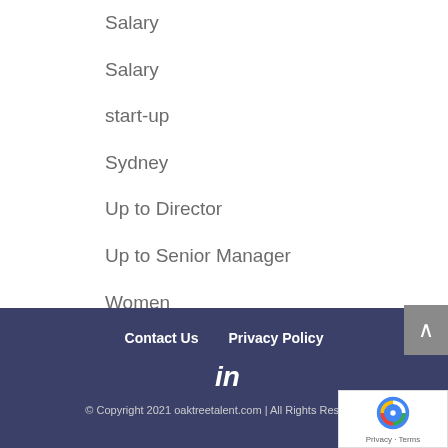Salary
Salary
start-up
Sydney
Up to Director
Up to Senior Manager
Women
Contact Us   Privacy Policy
© Copyright 2021 oaktreetalent.com | All Rights Reserved